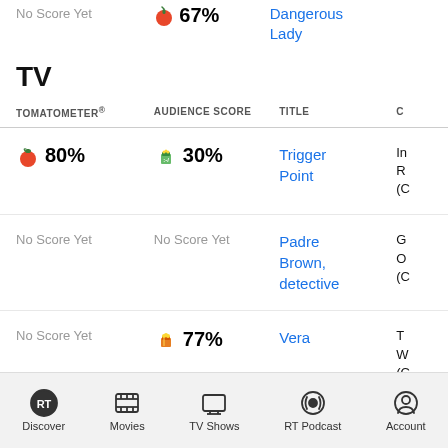No Score Yet | 67% | Dangerous Lady
TV
| TOMATOMETER® | AUDIENCE SCORE | TITLE | C |
| --- | --- | --- | --- |
| 🍅 80% | 🥤 30% | Trigger Point | In R (C |
| No Score Yet | No Score Yet | Padre Brown, detective | G O (C |
| No Score Yet | 🍿 77% | Vera | T W (C |
Discover | Movies | TV Shows | RT Podcast | Account